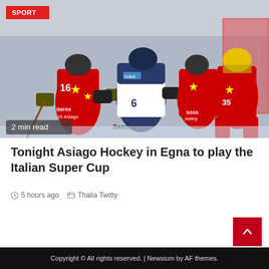[Figure (photo): Ice hockey game photo showing players in red/yellow Asiago jerseys and white/dark Sanifarm jerseys competing on the ice, with a goalie in yellow helmet visible on the right. A red 'SPORT' badge is in the top left and '2 min read' overlay at the bottom left.]
Tonight Asiago Hockey in Egna to play the Italian Super Cup
5 hours ago   Thalia Twitty
Copyright © All rights reserved. | Newsium by AF themes.